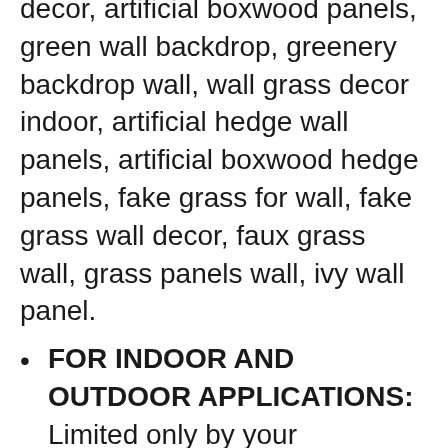decor, artificial boxwood panels, green wall backdrop, greenery backdrop wall, wall grass decor indoor, artificial hedge wall panels, artificial boxwood hedge panels, fake grass for wall, fake grass wall decor, faux grass wall, grass panels wall, ivy wall panel.
FOR INDOOR AND OUTDOOR APPLICATIONS: Limited only by your imagination, exterior applications include use in patio, porch, privacy screen, wooden fencing, yard, backyard, walkways, home and office facade, wedding photography backdrop, stage backdrop and more! Interior decorative applications for our grass panels include balcony, living room, trellis, study room, terrace,